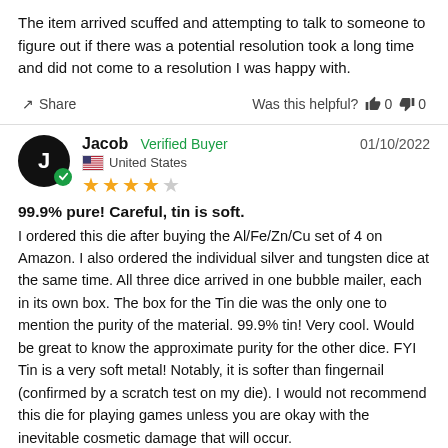The item arrived scuffed and attempting to talk to someone to figure out if there was a potential resolution took a long time and did not come to a resolution I was happy with.
Share   Was this helpful? 0  0
Jacob  Verified Buyer   01/10/2022
United States
★★★★☆
99.9% pure! Careful, tin is soft.
I ordered this die after buying the Al/Fe/Zn/Cu set of 4 on Amazon. I also ordered the individual silver and tungsten dice at the same time. All three dice arrived in one bubble mailer, each in its own box. The box for the Tin die was the only one to mention the purity of the material. 99.9% tin! Very cool. Would be great to know the approximate purity for the other dice. FYI Tin is a very soft metal! Notably, it is softer than fingernail (confirmed by a scratch test on my die). I would not recommend this die for playing games unless you are okay with the inevitable cosmetic damage that will occur.